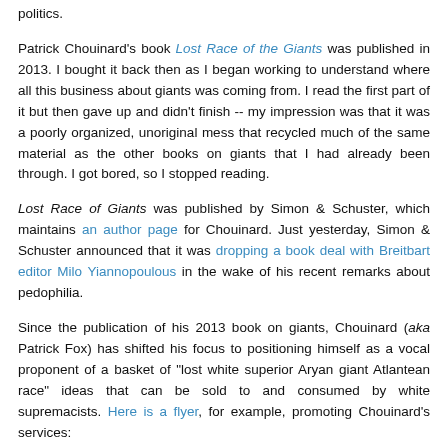politics.
Patrick Chouinard's book Lost Race of the Giants was published in 2013. I bought it back then as I began working to understand where all this business about giants was coming from. I read the first part of it but then gave up and didn't finish -- my impression was that it was a poorly organized, unoriginal mess that recycled much of the same material as the other books on giants that I had already been through. I got bored, so I stopped reading.
Lost Race of Giants was published by Simon & Schuster, which maintains an author page for Chouinard. Just yesterday, Simon & Schuster announced that it was dropping a book deal with Breitbart editor Milo Yiannopoulous in the wake of his recent remarks about pedophilia.
Since the publication of his 2013 book on giants, Chouinard (aka Patrick Fox) has shifted his focus to positioning himself as a vocal proponent of a basket of "lost white superior Aryan giant Atlantean race" ideas that can be sold to and consumed by white supremacists. Here is a flyer, for example, promoting Chouinard's services: